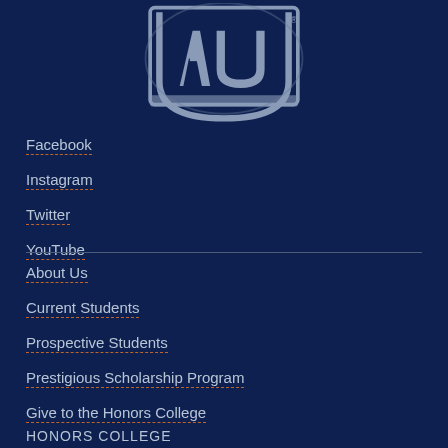[Figure (logo): Auburn University AU logo mark in silver/gray on dark navy blue background]
Facebook
Instagram
Twitter
YouTube
About Us
Current Students
Prospective Students
Prestigious Scholarship Program
Give to the Honors College
HONORS COLLEGE